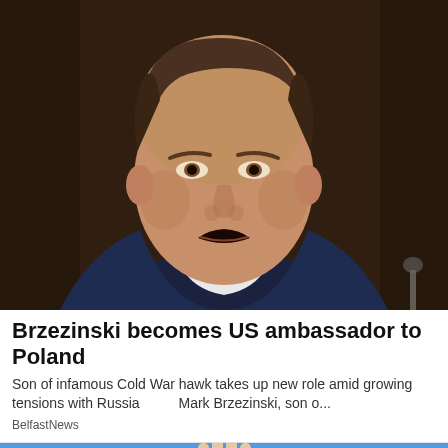[Figure (photo): Close-up photo of Mark Brzezinski, a middle-aged man in a dark navy suit and white shirt, speaking with mouth open, against a dark blurred background.]
Brzezinski becomes US ambassador to Poland
Son of infamous Cold War hawk takes up new role amid growing tensions with Russia        Mark Brzezinski, son o...
BelfastNews
[Figure (photo): Partial photo showing a raised hand with a ring on the finger against a bright blue background.]